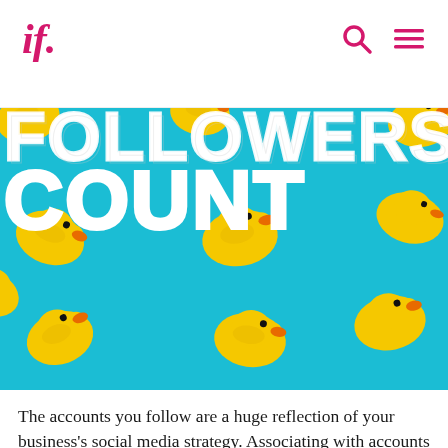if.
[Figure (photo): Yellow rubber ducks scattered on a teal/cyan background with bold white text overlay reading 'FOLLOWERS COUNT' (partially visible at top)]
The accounts you follow are a huge reflection of your business's social media strategy. Associating with accounts that have nothing to do with your industry,